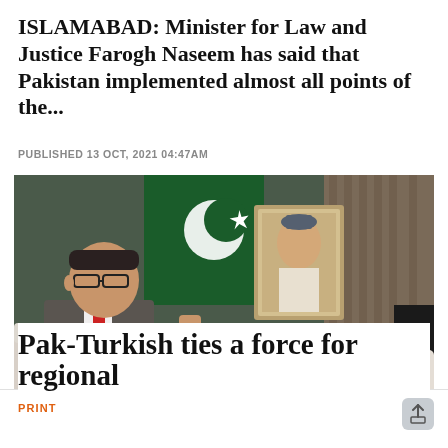ISLAMABAD: Minister for Law and Justice Farogh Naseem has said that Pakistan implemented almost all points of the...
PUBLISHED 13 OCT, 2021 04:47AM
[Figure (photo): Formal meeting scene: a man in a grey suit and red tie sits on a white sofa in an official setting. Behind him is a Pakistani flag. On a wooden side table is a framed portrait of Quaid-e-Azam Muhammad Ali Jinnah. Another person is partially visible on the right side.]
PRINT
Pak-Turkish ties a force for regional